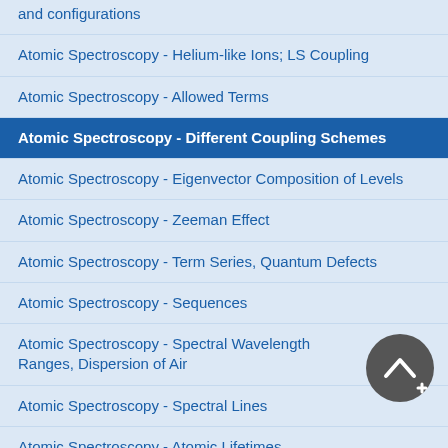and configurations
Atomic Spectroscopy - Helium-like Ions; LS Coupling
Atomic Spectroscopy - Allowed Terms
Atomic Spectroscopy - Different Coupling Schemes
Atomic Spectroscopy - Eigenvector Composition of Levels
Atomic Spectroscopy - Zeeman Effect
Atomic Spectroscopy - Term Series, Quantum Defects
Atomic Spectroscopy - Sequences
Atomic Spectroscopy - Spectral Wavelength Ranges, Dispersion of Air
Atomic Spectroscopy - Spectral Lines
Atomic Spectroscopy - Atomic Lifetimes